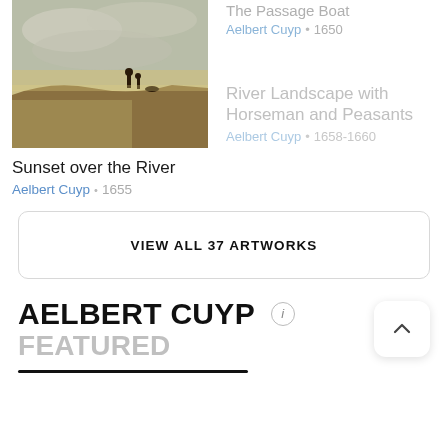[Figure (photo): Painting: Sunset over the River by Aelbert Cuyp, showing a landscape with figures silhouetted against a warm sunset sky near a river]
The Passage Boat
Aelbert Cuyp · 1650
Sunset over the River
Aelbert Cuyp · 1655
River Landscape with Horseman and Peasants
Aelbert Cuyp · 1658-1660
VIEW ALL 37 ARTWORKS
AELBERT CUYP
FEATURED